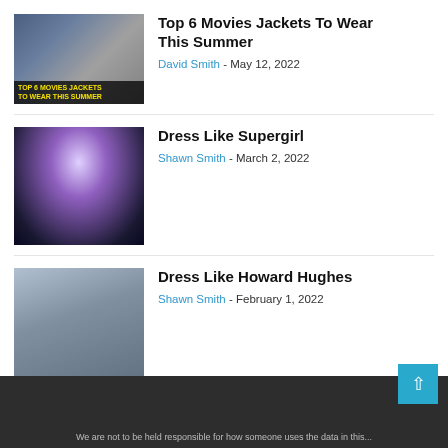[Figure (photo): Thumbnail image for article about movie jackets, showing text 'TOP 6 MOVIES JACKETS TO WEAR THIS SUMMER']
Top 6 Movies Jackets To Wear This Summer
David Smith - May 12, 2022
[Figure (photo): Thumbnail image of Supergirl character in costume with dramatic lighting]
Dress Like Supergirl
Shawn Smith - March 2, 2022
[Figure (photo): Thumbnail image of a young man in a brown leather jacket posed near aircraft machinery]
Dress Like Howard Hughes
Shawn Smith - February 1, 2022
We are not to be held responsible for how someone uses the data in this...